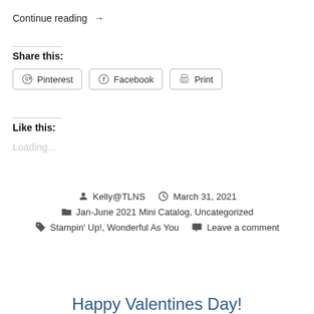Continue reading →
Share this:
Pinterest  Facebook  Print
Like this:
Loading...
Kelly@TLNS  March 31, 2021  Jan-June 2021 Mini Catalog, Uncategorized  Stampin' Up!, Wonderful As You  Leave a comment
Happy Valentines Day!